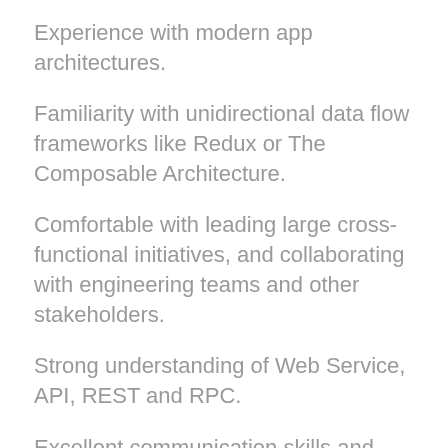Experience with modern app architectures.
Familiarity with unidirectional data flow frameworks like Redux or The Composable Architecture.
Comfortable with leading large cross-functional initiatives, and collaborating with engineering teams and other stakeholders.
Strong understanding of Web Service, API, REST and RPC.
Excellent communication skills and ability to work with a wide variety of teams.
Ability to explain complex technical concepts to a varied audience.
Ability to set priorities, and execute according to